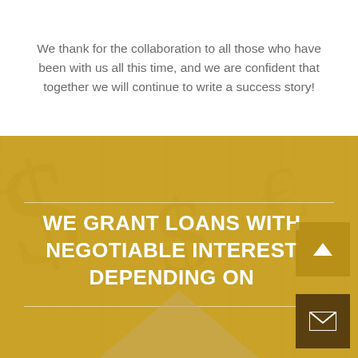We thank for the collaboration to all those who have been with us all this time, and we are confident that together we will continue to write a success story!
WE GRANT LOANS WITH NEGOTIABLE INTEREST DEPENDING ON
[Figure (other): Scroll-to-top button with chevron up arrow on golden background]
[Figure (other): Email/contact button with envelope icon on dark brown background]